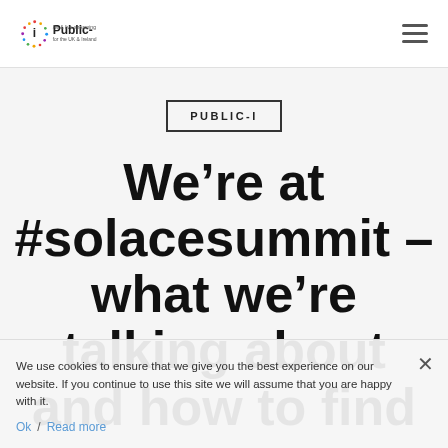Public-i | AV & live streaming for the UK & Ireland
PUBLIC-I
We're at #solacesummit – what we're talking about and how to find us
We use cookies to ensure that we give you the best experience on our website. If you continue to use this site we will assume that you are happy with it.
Ok  Read more